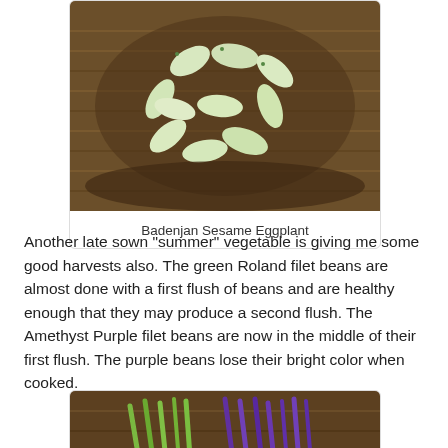[Figure (photo): Pale green/white small eggplants in a wicker basket, viewed from above]
Badenjan Sesame Eggplant
Another late sown "summer" vegetable is giving me some good harvests also. The green Roland filet beans are almost done with a first flush of beans and are healthy enough that they may produce a second flush. The Amethyst Purple filet beans are now in the middle of their first flush. The purple beans lose their bright color when cooked.
[Figure (photo): Green and purple filet beans in a wicker basket, viewed from above]